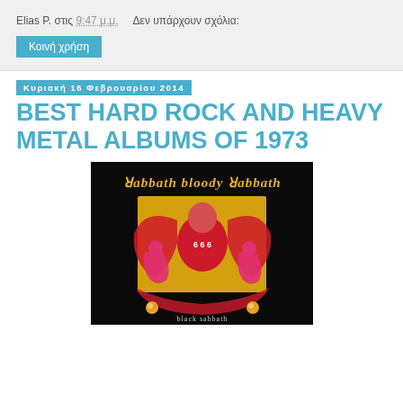Elias P. στις 9:47 μ.μ.    Δεν υπάρχουν σχόλια:
Κοινή χρήση
Κυριακή 16 Φεβρουαρίου 2014
BEST HARD ROCK AND HEAVY METAL ALBUMS OF 1973
[Figure (photo): Album cover of 'Sabbath Bloody Sabbath' by Black Sabbath. Black background with stylized text 'Sabbath bloody Sabbath' at top. Central image shows a demonic figure with '6 6 6' and surreal red/pink figures on a yellow throne. Text 'black sabbath' at bottom.]